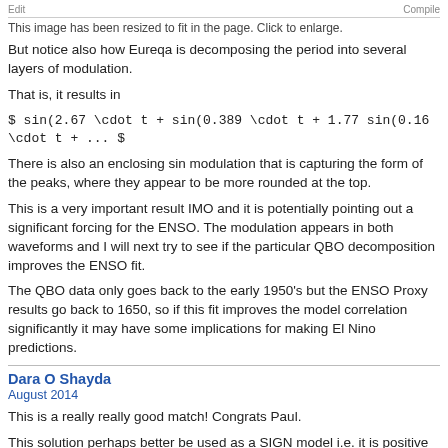Edit | Compile
This image has been resized to fit in the page. Click to enlarge.
But notice also how Eureqa is decomposing the period into several layers of modulation.
That is, it results in
There is also an enclosing sin modulation that is capturing the form of the peaks, where they appear to be more rounded at the top.
This is a very important result IMO and it is potentially pointing out a significant forcing for the ENSO. The modulation appears in both waveforms and I will next try to see if the particular QBO decomposition improves the ENSO fit.
The QBO data only goes back to the early 1950's but the ENSO Proxy results go back to 1650, so if this fit improves the model correlation significantly it may have some implications for making El Nino predictions.
Dara O Shayda
August 2014
This is a really really good match! Congrats Paul.
This solution perhaps better be used as a SIGN model i.e. it is positive when